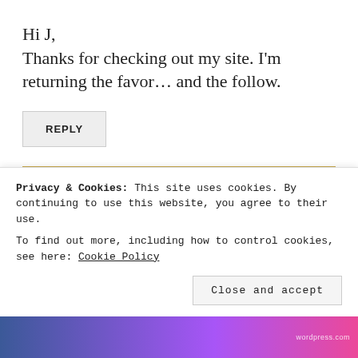Hi J,
Thanks for checking out my site. I'm returning the favor... and the follow.
REPLY
PEELEDONION
March 6, 2012 at 2:47 pm
Privacy & Cookies: This site uses cookies. By continuing to use this website, you agree to their use.
To find out more, including how to control cookies, see here: Cookie Policy
Close and accept